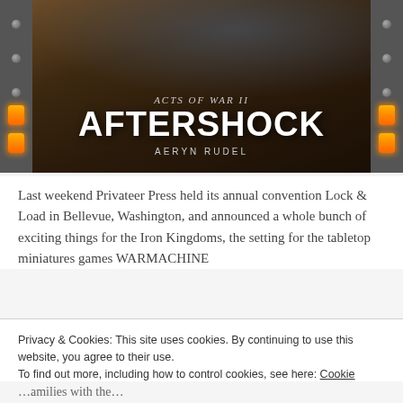[Figure (illustration): Book cover for 'Acts of War II: Aftershock' by Aeryn Rudel. Dark fantasy artwork with subtitle text and author name. Metallic side panels with glowing orange bars flank the cover.]
Last weekend Privateer Press held its annual convention Lock & Load in Bellevue, Washington, and announced a whole bunch of exciting things for the Iron Kingdoms, the setting for the tabletop miniatures games WARMACHINE
Privacy & Cookies: This site uses cookies. By continuing to use this website, you agree to their use.
To find out more, including how to control cookies, see here: Cookie Policy
Close and accept
…amilies with the …